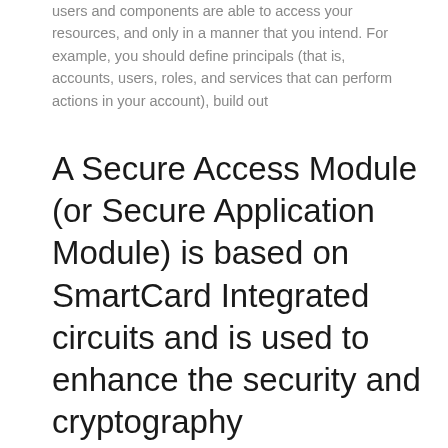users and components are able to access your resources, and only in a manner that you intend. For example, you should define principals (that is, accounts, users, roles, and services that can perform actions in your account), build out
A Secure Access Module (or Secure Application Module) is based on SmartCard Integrated circuits and is used to enhance the security and cryptography performance in devices, commonly in devices needing to perform secure transactions, such as payment terminals.It can be used for cryptographic computation and